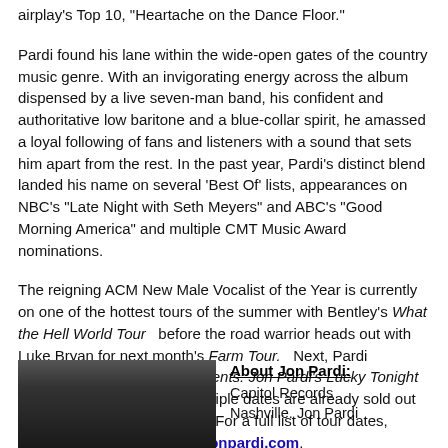airplay's Top 10, “Heartache on the Dance Floor.”
Pardi found his lane within the wide-open gates of the country music genre. With an invigorating energy across the album dispensed by a live seven-man band, his confident and authoritative low baritone and a blue-collar spirit, he amassed a loyal following of fans and listeners with a sound that sets him apart from the rest. In the past year, Pardi’s distinct blend landed his name on several ‘Best Of’ lists, appearances on NBC’s “Late Night with Seth Meyers” and ABC’s “Good Morning America” and multiple CMT Music Award nominations.
The reigning ACM New Male Vocalist of the Year is currently on one of the hottest tours of the summer with Bentley’s What the Hell World Tour before the road warrior heads out with Luke Bryan for next month’s Farm Tour. Next, Pardi headlines CMT On Tour Presents: Jon Pardi’s Lucky Tonight Tour kicking off Oct. 12. Multiple dates are already sold out for Pardi’s headlining fall run. For a full list of tour dates, tickets and more, visit www.jonpardi.com.
[Figure (photo): Photo of Jon Pardi, a man with dark hair, partially visible, dark background.]
About Jon Pardi: Capitol Records Nashville. Jon Pardi...